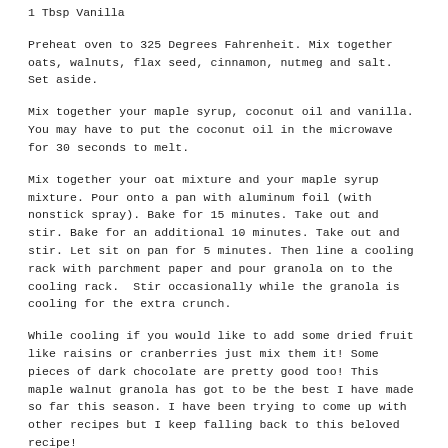1 Tbsp Vanilla
Preheat oven to 325 Degrees Fahrenheit. Mix together oats, walnuts, flax seed, cinnamon, nutmeg and salt. Set aside.
Mix together your maple syrup, coconut oil and vanilla. You may have to put the coconut oil in the microwave for 30 seconds to melt.
Mix together your oat mixture and your maple syrup mixture. Pour onto a pan with aluminum foil (with nonstick spray). Bake for 15 minutes. Take out and stir. Bake for an additional 10 minutes. Take out and stir. Let sit on pan for 5 minutes. Then line a cooling rack with parchment paper and pour granola on to the cooling rack. Stir occasionally while the granola is cooling for the extra crunch.
While cooling if you would like to add some dried fruit like raisins or cranberries just mix them it! Some pieces of dark chocolate are pretty good too! This maple walnut granola has got to be the best I have made so far this season. I have been trying to come up with other recipes but I keep falling back to this beloved recipe!